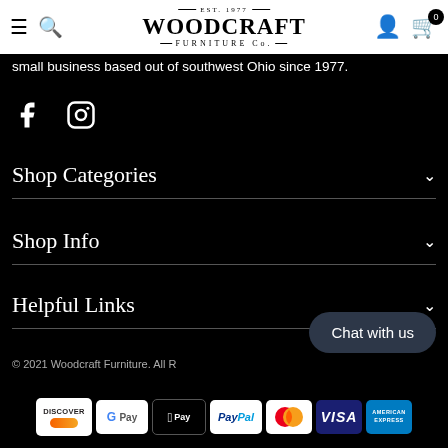EST 1977 WOODCRAFT FURNITURE Co.
small business based out of southwest Ohio since 1977.
[Figure (other): Social media icons: Facebook and Instagram]
Shop Categories
Shop Info
Helpful Links
© 2021 Woodcraft Furniture. All Rights Reserved.
[Figure (other): Payment method icons: Discover, Google Pay, Apple Pay, PayPal, Mastercard, Visa, American Express]